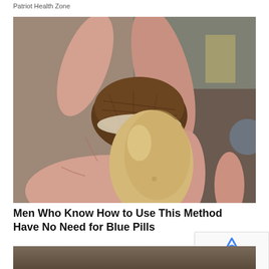Patriot Health Zone
[Figure (photo): Close-up photograph of a hand holding a peeled acorn showing the tan inner seed with a dark brown cap partially removed]
Men Who Know How to Use This Method Have No Need for Blue Pills
News4ppl
[Figure (photo): Partial bottom strip of another image visible at the very bottom of the page]